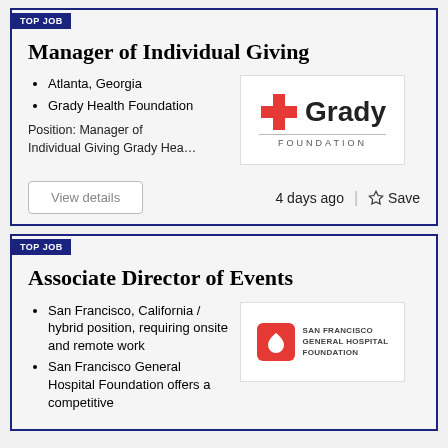TOP JOB
Manager of Individual Giving
Atlanta, Georgia
Grady Health Foundation
Position: Manager of Individual Giving Grady Hea…
[Figure (logo): Grady Foundation logo with red cross and bold text]
View details
4 days ago
Save
TOP JOB
Associate Director of Events
San Francisco, California / hybrid position, requiring onsite and remote work
San Francisco General Hospital Foundation offers a competitive
[Figure (logo): San Francisco General Hospital Foundation logo]